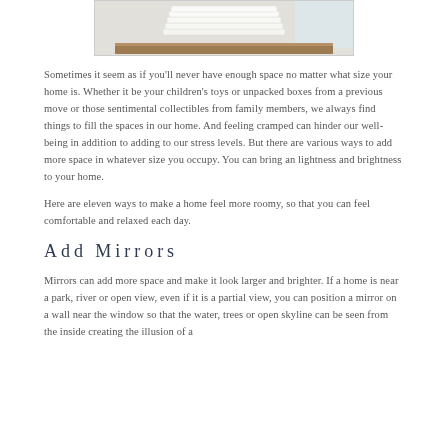[Figure (photo): Photo of stacked white plates on a wooden shelf, with a light background]
Sometimes it seem as if you'll never have enough space no matter what size your home is. Whether it be your children's toys or unpacked boxes from a previous move or those sentimental collectibles from family members, we always find things to fill the spaces in our home. And feeling cramped can hinder our well-being in addition to adding to our stress levels. But there are various ways to add more space in whatever size you occupy. You can bring an lightness and brightness to your home.
Here are eleven ways to make a home feel more roomy, so that you can feel comfortable and relaxed each day.
Add Mirrors
Mirrors can add more space and make it look larger and brighter. If a home is near a park, river or open view, even if it is a partial view, you can position a mirror on a wall near the window so that the water, trees or open skyline can be seen from the inside creating the illusion of a